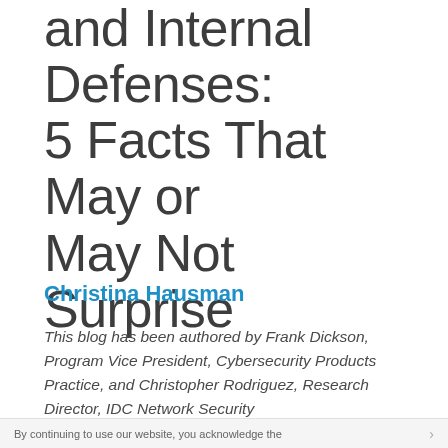and Internal Defenses: 5 Facts That May or May Not Surprise
Christina Hausman
This blog has been authored by Frank Dickson, Program Vice President, Cybersecurity Products Practice, and Christopher Rodriguez, Research Director, IDC Network Security
IDC recently had the opportunity to talk to CISOs regarding the integration of Cisco Secure Workload and Secure Firewall. As analysts, we can articulate the technical benefits. The realized
By continuing to use our website, you acknowledge the